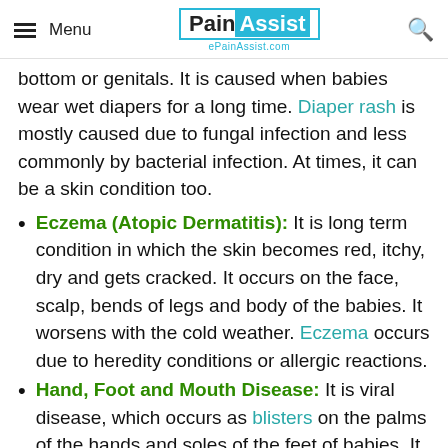Menu | PainAssist ePainAssist.com
bottom or genitals. It is caused when babies wear wet diapers for a long time. Diaper rash is mostly caused due to fungal infection and less commonly by bacterial infection. At times, it can be a skin condition too.
Eczema (Atopic Dermatitis): It is long term condition in which the skin becomes red, itchy, dry and gets cracked. It occurs on the face, scalp, bends of legs and body of the babies. It worsens with the cold weather. Eczema occurs due to heredity conditions or allergic reactions.
Hand, Foot and Mouth Disease: It is viral disease, which occurs as blisters on the palms of the hands and soles of the feet of babies. It